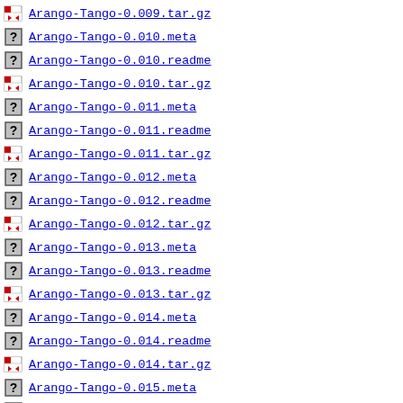Arango-Tango-0.009.tar.gz
Arango-Tango-0.010.meta
Arango-Tango-0.010.readme
Arango-Tango-0.010.tar.gz
Arango-Tango-0.011.meta
Arango-Tango-0.011.readme
Arango-Tango-0.011.tar.gz
Arango-Tango-0.012.meta
Arango-Tango-0.012.readme
Arango-Tango-0.012.tar.gz
Arango-Tango-0.013.meta
Arango-Tango-0.013.readme
Arango-Tango-0.013.tar.gz
Arango-Tango-0.014.meta
Arango-Tango-0.014.readme
Arango-Tango-0.014.tar.gz
Arango-Tango-0.015.meta
Arango-Tango-0.015.readme (partial)